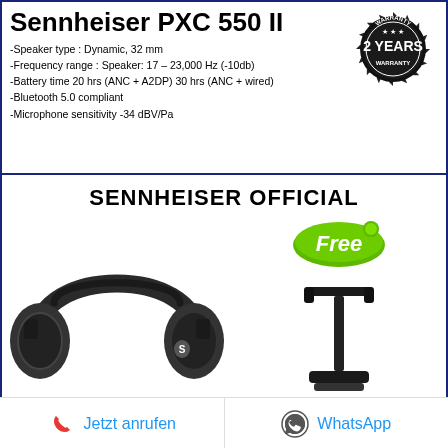Sennheiser PXC 550 II
-Speaker type : Dynamic, 32 mm
-Frequency range : Speaker: 17 – 23,000 Hz (-10db)
-Battery time 20 hrs (ANC + A2DP) 30 hrs (ANC + wired)
-Bluetooth 5.0 compliant
-Microphone sensitivity -34 dBV/Pa
[Figure (illustration): 2 YEARS WARRANTY badge/seal in black and white]
SENNHEISER OFFICIAL
[Figure (photo): Sennheiser PXC 550 II over-ear headphones in black, shown from front-left angle with Sennheiser logo visible]
[Figure (illustration): Green 'Free' badge/sticker]
[Figure (illustration): Black headphone stand accessory (free gift)]
Jetzt anrufen
WhatsApp